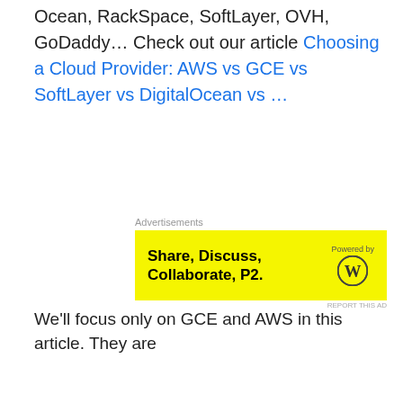Ocean, RackSpace, SoftLayer, OVH, GoDaddy… Check out our article Choosing a Cloud Provider: AWS vs GCE vs SoftLayer vs DigitalOcean vs …
[Figure (other): Yellow advertisement banner for P2 product: 'Share, Discuss, Collaborate, P2.' Powered by WordPress logo. Advertisements label above, REPORT THIS AD label below.]
We'll focus only on GCE and AWS in this article. They are the two majors, fully featured, shared infrastructure, IaaS offerings.
They both provide everything needed in a typical datacenter.
Infrastructure and Hardware:
Get servers with various hardware specifications
In multiple datacenters across the planet